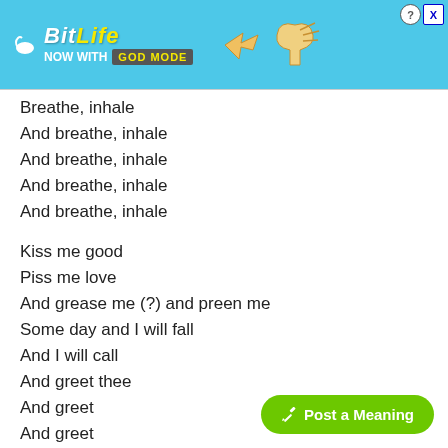[Figure (screenshot): BitLife 'NOW WITH GOD MODE' advertisement banner with cyan/blue background, sperm icon, yellow BitLife logo, and hand pointing icon]
Breathe, inhale
And breathe, inhale
And breathe, inhale
And breathe, inhale
And breathe, inhale
Kiss me good
Piss me love
And grease me (?) and preen me
Some day and I will fall
And I will call
And greet thee
And greet
And greet
And greet
And greet
[Figure (other): Green 'Post a Meaning' button in bottom right corner]